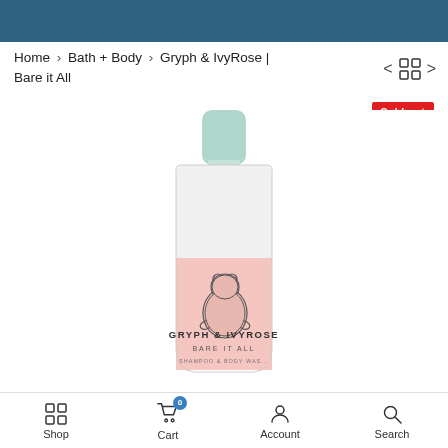Home > Bath + Body > Gryph & IvyRose | Bare it All
Sold out
[Figure (photo): A white lotion/shampoo bottle with a light mint-colored pump cap and a pink label featuring an illustrated bear and the text GRYPH & IVYROSE BARE IT ALL]
Shop  Cart  Account  Search